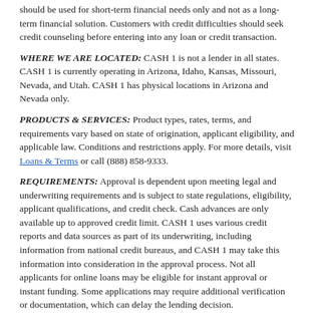should be used for short-term financial needs only and not as a long-term financial solution. Customers with credit difficulties should seek credit counseling before entering into any loan or credit transaction.
WHERE WE ARE LOCATED: CASH 1 is not a lender in all states. CASH 1 is currently operating in Arizona, Idaho, Kansas, Missouri, Nevada, and Utah. CASH 1 has physical locations in Arizona and Nevada only.
PRODUCTS & SERVICES: Product types, rates, terms, and requirements vary based on state of origination, applicant eligibility, and applicable law. Conditions and restrictions apply. For more details, visit Loans & Terms or call (888) 858-9333.
REQUIREMENTS: Approval is dependent upon meeting legal and underwriting requirements and is subject to state regulations, eligibility, applicant qualifications, and credit check. Cash advances are only available up to approved credit limit. CASH 1 uses various credit reports and data sources as part of its underwriting, including information from national credit bureaus, and CASH 1 may take this information into consideration in the approval process. Not all applicants for online loans may be eligible for instant approval or instant funding. Some applications may require additional verification or documentation, which can delay the lending decision.
NOTICE: The Federal Equal Credit Opportunity Act prohibits creditors from discriminating against credit applicants on the basis of race, color, religion, national origin, sex, marital status, age (provided the applicant has the capacity to enter into a binding contract);